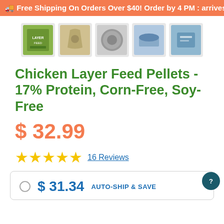🚚 Free Shipping On Orders Over $40! Order by 4 PM : arrives
[Figure (photo): Five product thumbnail images: a green product box, pouring feed, a single pellet closeup, hand holding feed, and a bag closeup]
Chicken Layer Feed Pellets - 17% Protein, Corn-Free, Soy-Free
$ 32.99
★★★★★ 16 Reviews
$ 31.34 AUTO-SHIP & SAVE